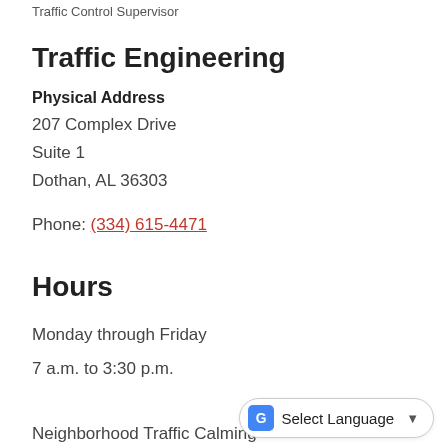Traffic Control Supervisor
Traffic Engineering
Physical Address
207 Complex Drive
Suite 1
Dothan, AL 36303
Phone: (334) 615-4471
Hours
Monday through Friday
7 a.m. to 3:30 p.m.
Neighborhood Traffic Calming